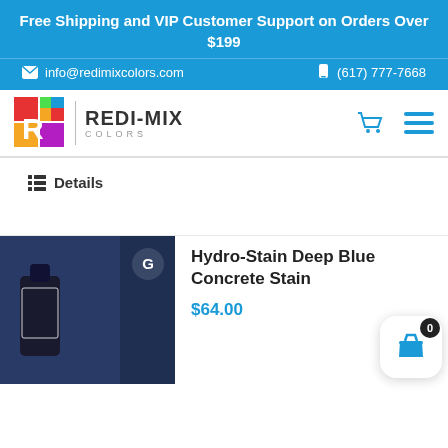Free Shipping and VIP Customer Support on Orders Over $199
info@redimixcolors.com  (617) 777-7668
[Figure (logo): Redi-Mix Colors logo with colorful grid icon and brand name]
Details
[Figure (photo): Hydro-Stain Deep Blue Concrete Stain product image showing a bottle against a dark blue concrete background]
Hydro-Stain Deep Blue Concrete Stain
$64.00